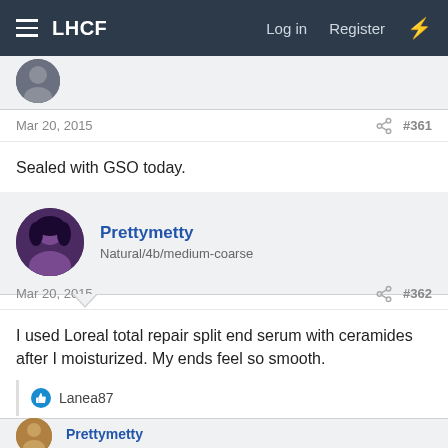LHCF  Log in  Register
Mar 20, 2015  #361
Sealed with GSO today.
Prettymetty
Natural/4b/medium-coarse
Mar 20, 2015  #362
I used Loreal total repair split end serum with ceramides after I moisturized. My ends feel so smooth.
Lanea87
Prettymetty